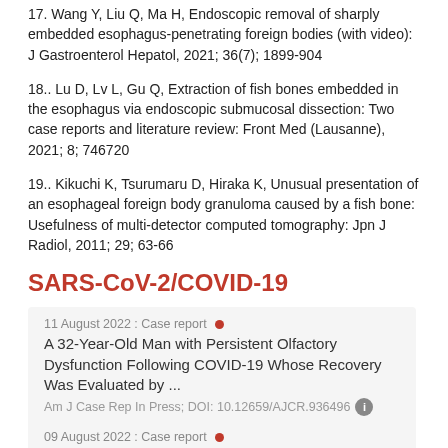17. Wang Y, Liu Q, Ma H, Endoscopic removal of sharply embedded esophagus-penetrating foreign bodies (with video): J Gastroenterol Hepatol, 2021; 36(7); 1899-904
18.. Lu D, Lv L, Gu Q, Extraction of fish bones embedded in the esophagus via endoscopic submucosal dissection: Two case reports and literature review: Front Med (Lausanne), 2021; 8; 746720
19.. Kikuchi K, Tsurumaru D, Hiraka K, Unusual presentation of an esophageal foreign body granuloma caused by a fish bone: Usefulness of multi-detector computed tomography: Jpn J Radiol, 2011; 29; 63-66
SARS-CoV-2/COVID-19
11 August 2022 : Case report
A 32-Year-Old Man with Persistent Olfactory Dysfunction Following COVID-19 Whose Recovery Was Evaluated by ...
Am J Case Rep In Press; DOI: 10.12659/AJCR.936496
09 August 2022 : Case report
A Case of Segmental Arterial Mediolysis of Multiple Visceral